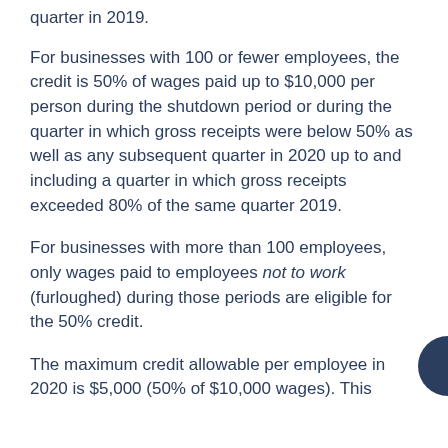quarter in 2019.
For businesses with 100 or fewer employees, the credit is 50% of wages paid up to $10,000 per person during the shutdown period or during the quarter in which gross receipts were below 50% as well as any subsequent quarter in 2020 up to and including a quarter in which gross receipts exceeded 80% of the same quarter 2019.
For businesses with more than 100 employees, only wages paid to employees not to work (furloughed) during those periods are eligible for the 50% credit.
The maximum credit allowable per employee in 2020 is $5,000 (50% of $10,000 wages). This